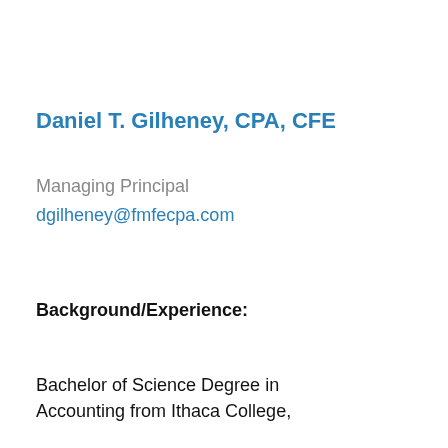Daniel T. Gilheney, CPA, CFE
Managing Principal
dgilheney@fmfecpa.com
Background/Experience:
Bachelor of Science Degree in Accounting from Ithaca College,